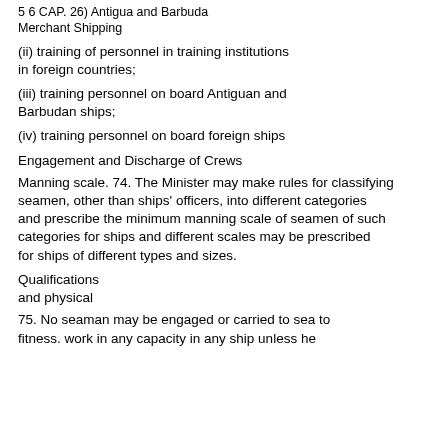5 6 CAP. 26) Antigua and Barbuda
Merchant Shipping
(ii) training of personnel in training institutions in foreign countries;
(iii) training personnel on board Antiguan and Barbudan ships;
(iv) training personnel on board foreign ships
Engagement and Discharge of Crews
Manning scale. 74. The Minister may make rules for classifying seamen, other than ships' officers, into different categories and prescribe the minimum manning scale of seamen of such categories for ships and different scales may be prescribed for ships of different types and sizes.
Qualifications
and physical
75. No seaman may be engaged or carried to sea to fitness. work in any capacity in any ship unless he